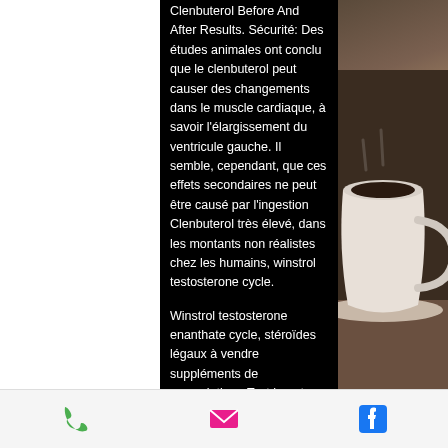Clenbuterol Before And After Results. Sécurité: Des études animales ont conclu que le clenbuterol peut causer des changements dans le muscle cardiaque, à savoir l'élargissement du ventricule gauche. Il semble, cependant, que ces effets secondaires ne peut être causé par l'ingestion Clenbuterol très élevé, dans les montants non réalistes chez les humains, winstrol testosterone cycle.
Winstrol testosterone enanthate cycle, stéroïdes légaux à vendre suppléments de musculation.. Test booster ayuda a facilitar una producción más elevada de testosterona endógena, aumento de la energía y disposición anabólica,. Test booster ayuda a. Testostérone boosters naturelle ou testo booster pour les hommes. L'hormone responsable de la perte de graisses et de
[Figure (photo): Right side: photo of a coffee cup on a dark background, partially visible]
Phone icon | Email icon | Facebook icon